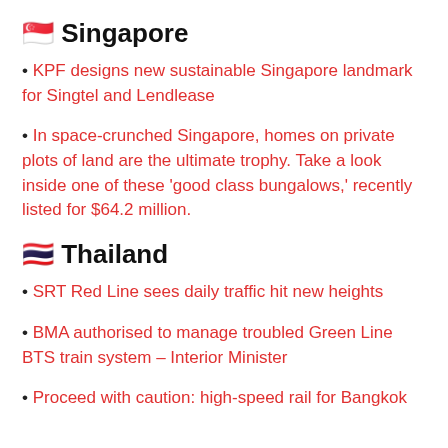🇸🇬 Singapore
KPF designs new sustainable Singapore landmark for Singtel and Lendlease
In space-crunched Singapore, homes on private plots of land are the ultimate trophy. Take a look inside one of these 'good class bungalows,' recently listed for $64.2 million.
🇹🇭 Thailand
SRT Red Line sees daily traffic hit new heights
BMA authorised to manage troubled Green Line BTS train system – Interior Minister
Proceed with caution: high-speed rail for Bangkok